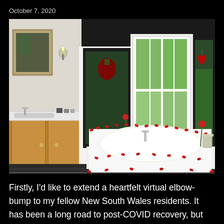October 7, 2020
[Figure (photo): Elegant bathroom with a white soaking tub surrounded by red rose petals scattered on white tile steps. Bay windows overlook green foliage outside. Stained glass panels with red strawberry/heart motifs flank the windows. Wooden vanity with sink on the left, wall sconce light, and a mirror. Black accent tiles on floor and decorative band. Champagne bucket near the tub.]
Firstly, I’d like to extend a heartfelt virtual elbow-bump to my fellow New South Wales residents. It has been a long road to post-COVID recovery, but